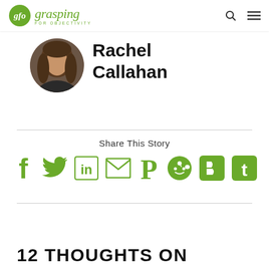gfo grasping FOR OBJECTIVITY
[Figure (photo): Circular portrait photo of Rachel Callahan, a woman with long brown hair]
Rachel Callahan
Share This Story
[Figure (infographic): Row of green social media share icons: Facebook, Twitter, LinkedIn, Email, Pinterest, Reddit, Blogger, Tumblr]
12 THOUGHTS ON